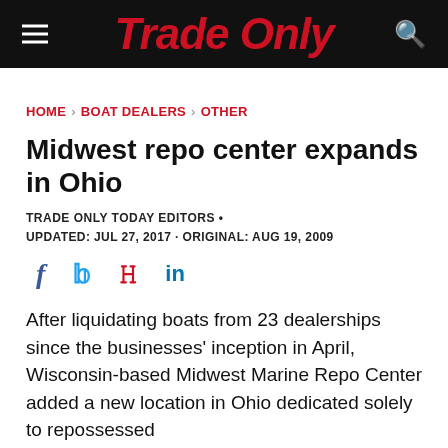Trade Only
HOME > BOAT DEALERS > OTHER
Midwest repo center expands in Ohio
TRADE ONLY TODAY EDITORS •
UPDATED: JUL 27, 2017 · ORIGINAL: AUG 19, 2009
[Figure (other): Social media share icons: Facebook, Twitter, Pinterest, LinkedIn]
After liquidating boats from 23 dealerships since the businesses' inception in April, Wisconsin-based Midwest Marine Repo Center added a new location in Ohio dedicated solely to repossessed